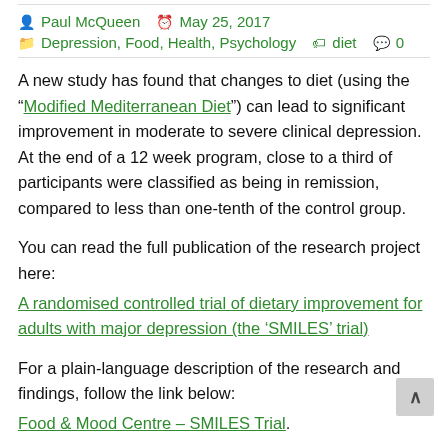Paul McQueen  May 25, 2017
Depression, Food, Health, Psychology  diet  0
A new study has found that changes to diet (using the "Modified Mediterranean Diet") can lead to significant improvement in moderate to severe clinical depression. At the end of a 12 week program, close to a third of participants were classified as being in remission, compared to less than one-tenth of the control group.
You can read the full publication of the research project here:
A randomised controlled trial of dietary improvement for adults with major depression (the ‘SMILES’ trial)
For a plain-language description of the research and findings, follow the link below:
Food & Mood Centre – SMILES Trial.